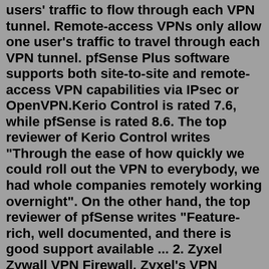users' traffic to flow through each VPN tunnel. Remote-access VPNs only allow one user's traffic to travel through each VPN tunnel. pfSense Plus software supports both site-to-site and remote-access VPN capabilities via IPsec or OpenVPN.Kerio Control is rated 7.6, while pfSense is rated 8.6. The top reviewer of Kerio Control writes "Through the ease of how quickly we could roll out the VPN to everybody, we had whole companies remotely working overnight". On the other hand, the top reviewer of pfSense writes "Feature-rich, well documented, and there is good support available ... 2. Zyxel Zywall VPN Firewall. Zyxel's VPN hardware is one of the most secure devices that you can find in the market. It is a great choice for medium to large businesses because it supports up to 1000 users, which is amazing. What's best is that this VPN hardware is compatible with a wide range of devices and provides L2TP support for ...Step 2 - Setting up DynDNS in pfSense. In pfSense, navigate to Services / Dynamic DNS and click on +Add. Now fill out the required